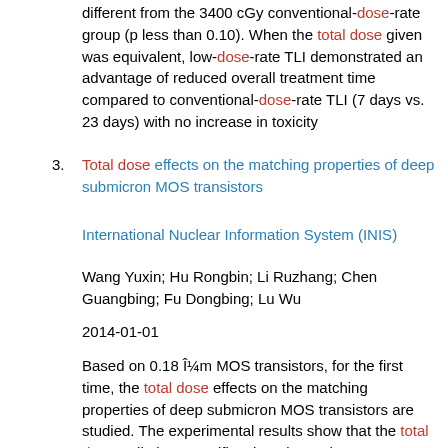different from the 3400 cGy conventional-dose-rate group (p less than 0.10). When the total dose given was equivalent, low-dose-rate TLI demonstrated an advantage of reduced overall treatment time compared to conventional-dose-rate TLI (7 days vs. 23 days) with no increase in toxicity
3. Total dose effects on the matching properties of deep submicron MOS transistors
International Nuclear Information System (INIS)
Wang Yuxin; Hu Rongbin; Li Ruzhang; Chen Guangbing; Fu Dongbing; Lu Wu
2014-01-01
Based on 0.18 μm MOS transistors, for the first time, the total dose effects on the matching properties of deep submicron MOS transistors are studied. The experimental results show that the total dose radiation magnifies the mismatch among identically designed MOS transistors. In our experiments, as the radiation total dose rises to 200 krad, the threshold voltage and drain current mismatch percentages of NMOS transistors increase from 0.55% and 1.4% before radiation to 17.4% and